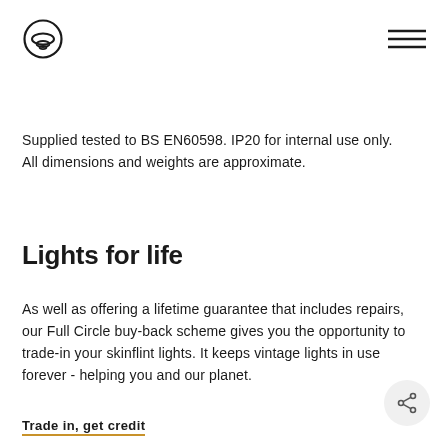[skinflint logo] [hamburger menu]
Supplied tested to BS EN60598. IP20 for internal use only. All dimensions and weights are approximate.
Lights for life
As well as offering a lifetime guarantee that includes repairs, our Full Circle buy-back scheme gives you the opportunity to trade-in your skinflint lights. It keeps vintage lights in use forever - helping you and our planet.
Trade in, get credit